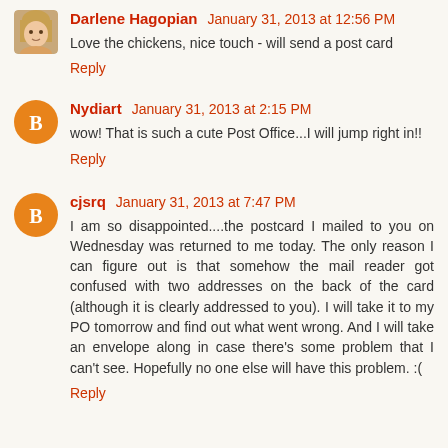[Figure (photo): Profile photo of Darlene Hagopian – woman with blonde hair]
Darlene Hagopian January 31, 2013 at 12:56 PM
Love the chickens, nice touch - will send a post card
Reply
[Figure (logo): Orange Blogger B icon circle avatar]
Nydiart January 31, 2013 at 2:15 PM
wow! That is such a cute Post Office...I will jump right in!!
Reply
[Figure (logo): Orange Blogger B icon circle avatar]
cjsrq January 31, 2013 at 7:47 PM
I am so disappointed....the postcard I mailed to you on Wednesday was returned to me today. The only reason I can figure out is that somehow the mail reader got confused with two addresses on the back of the card (although it is clearly addressed to you). I will take it to my PO tomorrow and find out what went wrong. And I will take an envelope along in case there's some problem that I can't see. Hopefully no one else will have this problem. :(
Reply